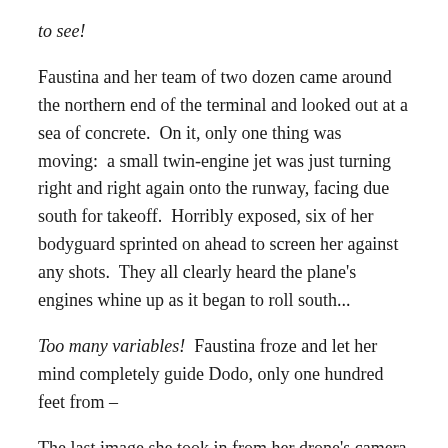to see!
Faustina and her team of two dozen came around the northern end of the terminal and looked out at a sea of concrete.  On it, only one thing was moving:  a small twin-engine jet was just turning right and right again onto the runway, facing due south for takeoff.  Horribly exposed, six of her bodyguard sprinted on ahead to screen her against any shots.  They all clearly heard the plane's engines whine up as it began to roll south...
Too many variables!  Faustina froze and let her mind completely guide Dodo, only one hundred feet from –
The last image she took in from her drone's camera was the shocked look on the face of the